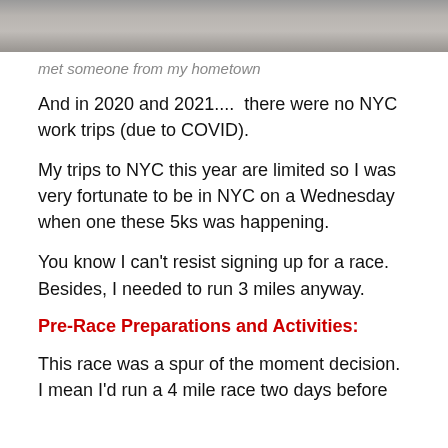[Figure (photo): Partial photo showing people, cropped at top of page]
met someone from my hometown
And in 2020 and 2021....  there were no NYC work trips (due to COVID).
My trips to NYC this year are limited so I was very fortunate to be in NYC on a Wednesday when one these 5ks was happening.
You know I can't resist signing up for a race.  Besides, I needed to run 3 miles anyway.
Pre-Race Preparations and Activities:
This race was a spur of the moment decision. I mean I'd run a 4 mile race two days before